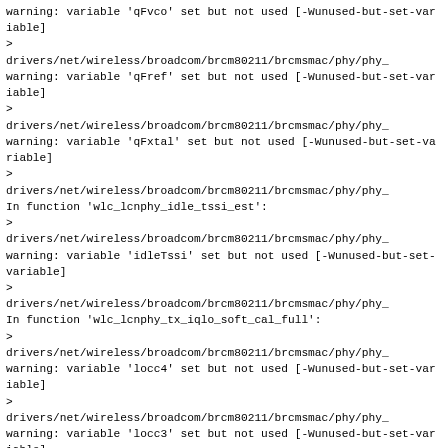warning: variable 'qFvco' set but not used [-Wunused-but-set-variable]
>
drivers/net/wireless/broadcom/brcm80211/brcmsmac/phy/phy_
warning: variable 'qFref' set but not used [-Wunused-but-set-variable]
>
drivers/net/wireless/broadcom/brcm80211/brcmsmac/phy/phy_
warning: variable 'qFxtal' set but not used [-Wunused-but-set-variable]
>
drivers/net/wireless/broadcom/brcm80211/brcmsmac/phy/phy_
In function 'wlc_lcnphy_idle_tssi_est':
>
drivers/net/wireless/broadcom/brcm80211/brcmsmac/phy/phy_
warning: variable 'idleTssi' set but not used [-Wunused-but-set-variable]
>
drivers/net/wireless/broadcom/brcm80211/brcmsmac/phy/phy_
In function 'wlc_lcnphy_tx_iqlo_soft_cal_full':
>
drivers/net/wireless/broadcom/brcm80211/brcmsmac/phy/phy_
warning: variable 'locc4' set but not used [-Wunused-but-set-variable]
>
drivers/net/wireless/broadcom/brcm80211/brcmsmac/phy/phy_
warning: variable 'locc3' set but not used [-Wunused-but-set-variable]
>
drivers/net/wireless/broadcom/brcm80211/brcmsmac/phy/phy_
warning: variable 'locc2' set but not used [-Wunused-